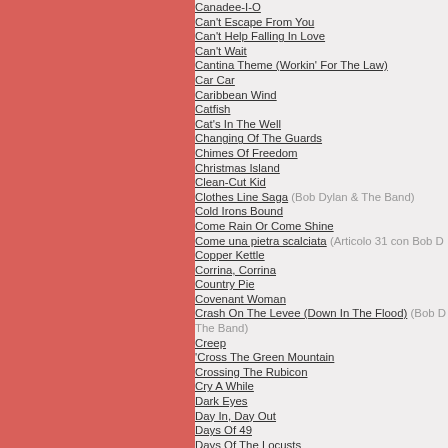Canadee-I-O
Can't Escape From You
Can't Help Falling In Love
Can't Wait
Cantina Theme (Workin' For The Law)
Car Car
Caribbean Wind
Catfish
Cat's In The Well
Changing Of The Guards
Chimes Of Freedom
Christmas Island
Clean-Cut Kid
Clothes Line Saga (Bob Dylan & The Band)
Cold Irons Bound
Come Rain Or Come Shine
Come una pietra scalciata (Articolo 31 con Bob Dylan)
Copper Kettle
Corrina, Corrina
Country Pie
Covenant Woman
Crash On The Levee (Down In The Flood) (Bob Dylan & The Band)
Creep
'Cross The Green Mountain
Crossing The Rubicon
Cry A While
Dark Eyes
Day In, Day Out
Days Of 49
Days Of The Locusts
Dead Man, Dead Man
Dear Landlord
Death Is Not The End
Delia
Desolation Row
Diamond Joe
Dignity